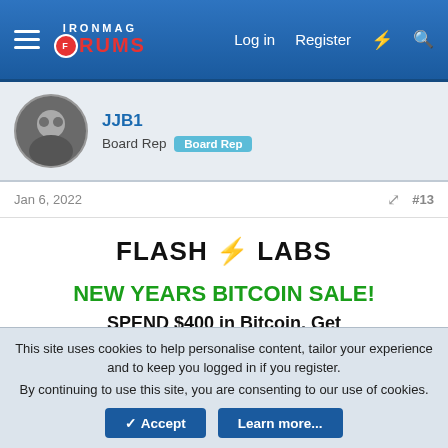IronMag Forums — Log in | Register
JJB1 — Board Rep
Jan 6, 2022  #13
FLASH ⚡ LABS
NEW YEARS BITCOIN SALE!
SPEND $400 in Bitcoin, Get
25% OFF
Sale ends JANUARY 7th
www.c.flashgear.to
This site uses cookies to help personalise content, tailor your experience and to keep you logged in if you register.
By continuing to use this site, you are consenting to our use of cookies.